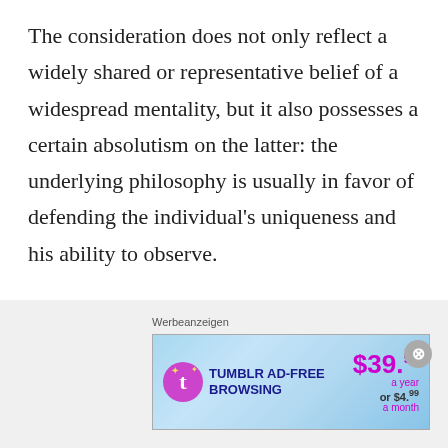The consideration does not only reflect a widely shared or representative belief of a widespread mentality, but it also possesses a certain absolutism on the latter: the underlying philosophy is usually in favor of defending the individual's uniqueness and his ability to observe.
The Polish poet, telling of events that at first sight are negligible because they are obvious in their being routine, follows the free meter along
Werbeanzeigen
[Figure (other): Tumblr advertisement banner: TUMBLR AD-FREE BROWSING $39.99 a year or $4.99 a month]